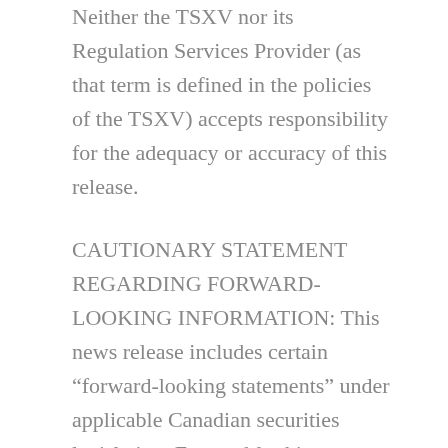Neither the TSXV nor its Regulation Services Provider (as that term is defined in the policies of the TSXV) accepts responsibility for the adequacy or accuracy of this release.
CAUTIONARY STATEMENT REGARDING FORWARD-LOOKING INFORMATION: This news release includes certain “forward-looking statements” under applicable Canadian securities legislation. Forward-looking statements include, but are not limited to, statements with respect to: potential mineralization, estimates of cut-off grade, the Company’s plans for further drilling and exploration, the Company’s ability to obtain all required approvals to complete the Transaction, and the business and operations of the Company upon completion of the proposed Transaction. Forward-